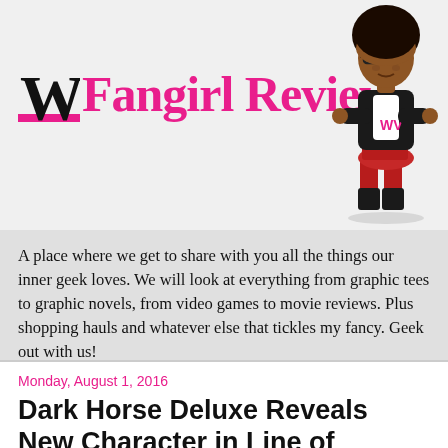[Figure (logo): Fangirl Review logo with black W letter and pink cursive text 'Fangirl Review', alongside a cartoon illustration of a Black woman with afro hair, glasses, wearing a black jacket and red pants]
A place where we get to share with you all the things our inner geek loves. We will look at everything from graphic tees to graphic novels, from video games to movie reviews. Plus shopping hauls and whatever else that tickles my fancy. Geek out with us!
Monday, August 1, 2016
Dark Horse Deluxe Reveals New Character in Line of “Game of Thrones®” Figures